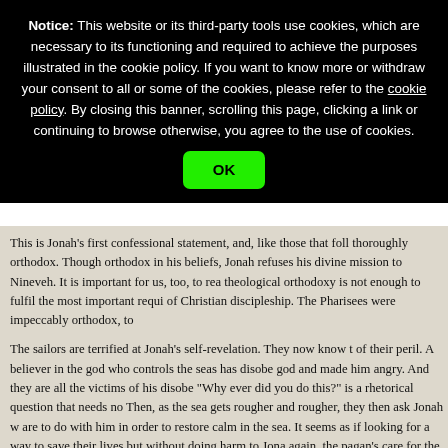Notice: This website or its third-party tools use cookies, which are necessary to its functioning and required to achieve the purposes illustrated in the cookie policy. If you want to know more or withdraw your consent to all or some of the cookies, please refer to the cookie policy. By closing this banner, scrolling this page, clicking a link or continuing to browse otherwise, you agree to the use of cookies.
OK
This is Jonah's first confessional statement, and, like those that follow, it is thoroughly orthodox. Though orthodox in his beliefs, Jonah refuses to carry out his divine mission to Nineveh. It is important for us, too, to realise that theological orthodoxy is not enough to fulfil the most important requirements of Christian discipleship. The Pharisees were impeccably orthodox, to
The sailors are terrified at Jonah's self-revelation. They now know the full extent of their peril. A believer in the god who controls the seas has disobeyed that god and made him angry. And they are all the victims of his disobedience. "Why ever did you do this?" is a rhetorical question that needs no answer. Then, as the sea gets rougher and rougher, they then ask Jonah what they are to do with him in order to restore calm in the sea. It seems as if they are looking for a way to save their lives but without doing harm to Jonah. Once again, the pagan's care for the Hebrew far surpasses the Hebrew's care for them. This is all part of the central lesson of the story.